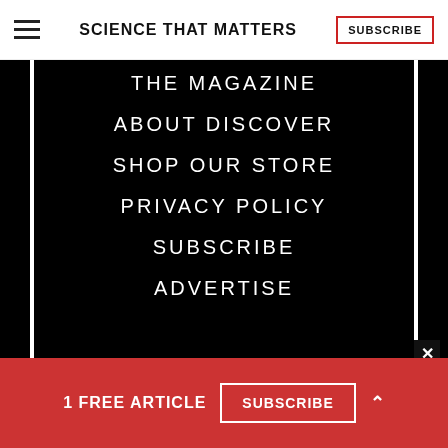SCIENCE THAT MATTERS | SUBSCRIBE
THE MAGAZINE
ABOUT DISCOVER
SHOP OUR STORE
PRIVACY POLICY
SUBSCRIBE
ADVERTISE
[Figure (screenshot): Advertisement banner: THE MOST EXCLUSIVE TOURS OF EGYPT EVER OFFERED with JOIN NOW button and person wearing hat]
1 FREE ARTICLE  SUBSCRIBE